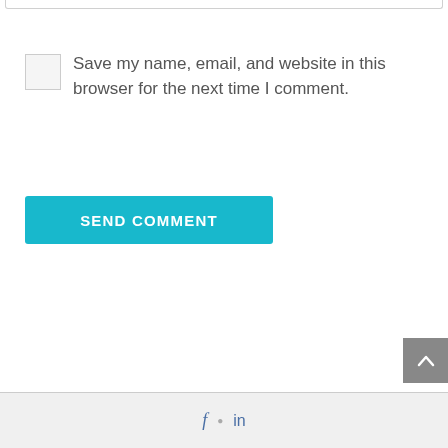Save my name, email, and website in this browser for the next time I comment.
SEND COMMENT
[Figure (other): Gray scroll-to-top button with upward chevron arrow]
Footer bar with social media icons